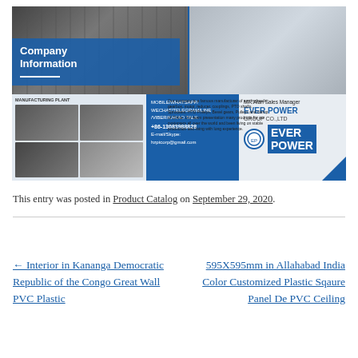[Figure (photo): Company Information banner image showing manufacturing plant photos, contact info (MOBILE/WHATSAPP/WECHAT/TELEGRAM/LINE/VIBER/KAKAO TALK: +86-13083988828, E-mail/Skype: hzptcorp@gmail.com), MR.Alan Sales Manager EVER POWER GROUP CO.,LTD, and EVER POWER branding with logo.]
This entry was posted in Product Catalog on September 29, 2020.
← Interior in Kananga Democratic Republic of the Congo Great Wall PVC Plastic
595X595mm in Allahabad India Color Customized Plastic Sqaure Panel De PVC Ceiling